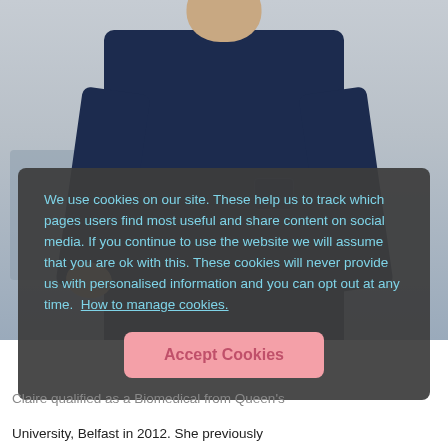[Figure (photo): A healthcare professional wearing dark navy blue scrubs, photographed from the torso up in a clinical setting with light-colored walls and chairs visible in the background.]
We use cookies on our site. These help us to track which pages users find most useful and share content on social media. If you continue to use the website we will assume that you are ok with this. These cookies will never provide us with personalised information and you can opt out at any time.  How to manage cookies.
Accept Cookies
Claire qualified as a Biomedical from Queen's University, Belfast in 2012. She previously